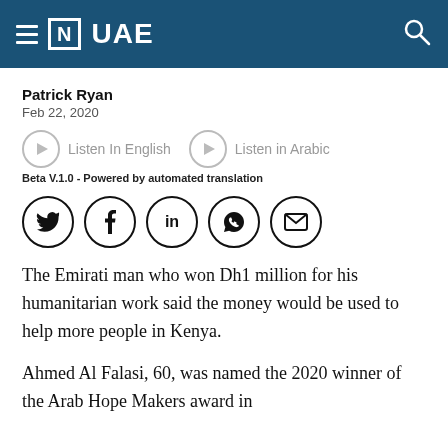[N] UAE
Patrick Ryan
Feb 22, 2020
[Figure (other): Audio player buttons: Listen In English and Listen in Arabic with play circle icons]
Beta V.1.0 - Powered by automated translation
[Figure (other): Social media share icons: Twitter, Facebook, LinkedIn, WhatsApp, Email]
The Emirati man who won Dh1 million for his humanitarian work said the money would be used to help more people in Kenya.
Ahmed Al Falasi, 60, was named the 2020 winner of the Arab Hope Makers award in